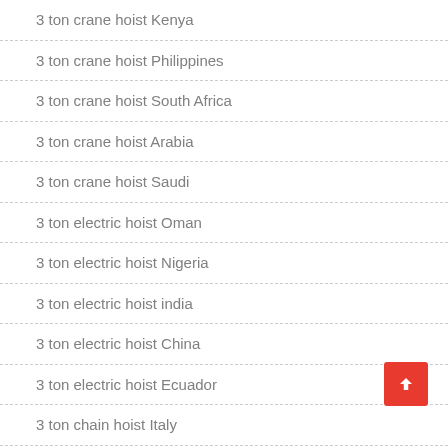3 ton crane hoist Kenya
3 ton crane hoist Philippines
3 ton crane hoist South Africa
3 ton crane hoist Arabia
3 ton crane hoist Saudi
3 ton electric hoist Oman
3 ton electric hoist Nigeria
3 ton electric hoist india
3 ton electric hoist China
3 ton electric hoist Ecuador
3 ton chain hoist Italy
3 ton chain hoist Albania